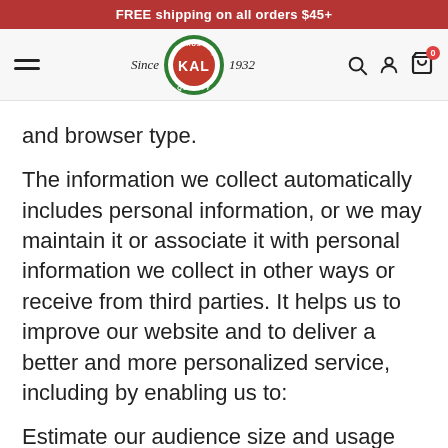FREE shipping on all orders $45+
[Figure (logo): KAL brand logo with green circular badge reading TRUST/QUALITY, red center with KAL text, with 'Since' and '1932' text on either side]
and browser type.
The information we collect automatically includes personal information, or we may maintain it or associate it with personal information we collect in other ways or receive from third parties. It helps us to improve our website and to deliver a better and more personalized service, including by enabling us to:
Estimate our audience size and usage